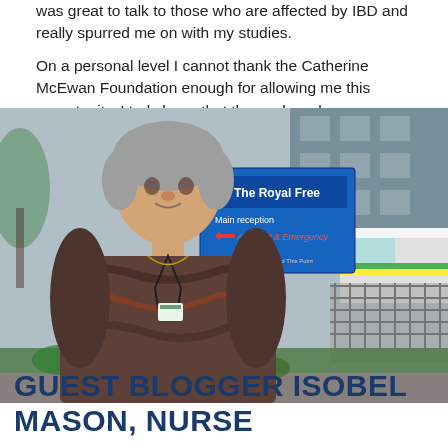was great to talk to those who are affected by IBD and really spurred me on with my studies.

On a personal level I cannot thank the Catherine McEwan Foundation enough for allowing me this opportunity. I truly hope that the work we have conducted will help scientists and clinicians understand IBD further.
[Figure (photo): A woman with short grey hair standing outside The Royal Free hospital, wearing a patterned top and lanyard with ID badge. In the background is a hospital sign reading 'The Royal Free, Main reception, Accident & Emergency' and an ambulance.]
GUEST BLOGGER ISOBEL MASON, NURSE